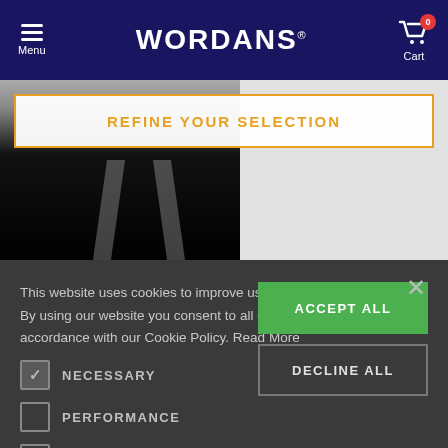Menu | WORDANS | Cart (0)
REFINE YOUR SELECTION
[Figure (screenshot): Cookie consent dialog overlay on the Wordans e-commerce website showing cookie policy text, NECESSARY/PERFORMANCE/ADVERTISING/FUNCTIONALITY checkboxes, ACCEPT ALL and DECLINE ALL buttons, and a close X button.]
This website uses cookies to improve user experience. By using our website you consent to all cookies in accordance with our Cookie Policy. Read More
NECESSARY
PERFORMANCE
ADVERTISING
FUNCTIONALITY